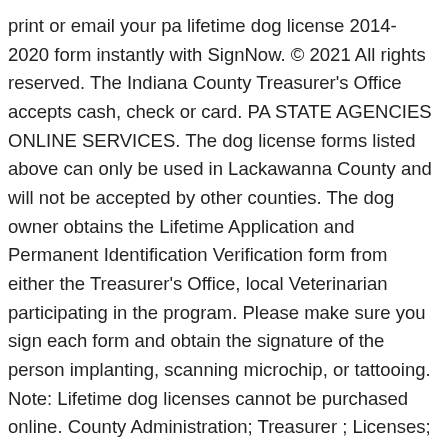print or email your pa lifetime dog license 2014-2020 form instantly with SignNow. © 2021 All rights reserved. The Indiana County Treasurer's Office accepts cash, check or card. PA STATE AGENCIES ONLINE SERVICES. The dog license forms listed above can only be used in Lackawanna County and will not be accepted by other counties. The dog owner obtains the Lifetime Application and Permanent Identification Verification form from either the Treasurer's Office, local Veterinarian participating in the program. Please make sure you sign each form and obtain the signature of the person implanting, scanning microchip, or tattooing. Note: Lifetime dog licenses cannot be purchased online. County Administration; Treasurer ; Licenses; Lifetime Dog Licenses; Lifetime Dog Licenses Dog License Lifetime Instructions Dog License